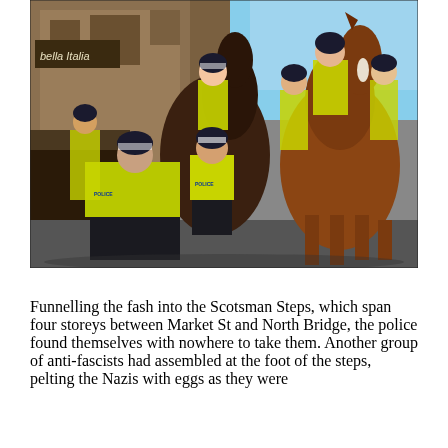[Figure (photo): A street scene showing mounted police officers on horses alongside foot officers in high-visibility yellow jackets. The setting appears to be an urban street. A sign reading 'bella Italia' is partially visible on a building in the background. The photo captures police managing what appears to be a crowd control situation.]
Funnelling the fash into the Scotsman Steps, which span four storeys between Market St and North Bridge, the police found themselves with nowhere to take them. Another group of anti-fascists had assembled at the foot of the steps, pelting the Nazis with eggs as they were